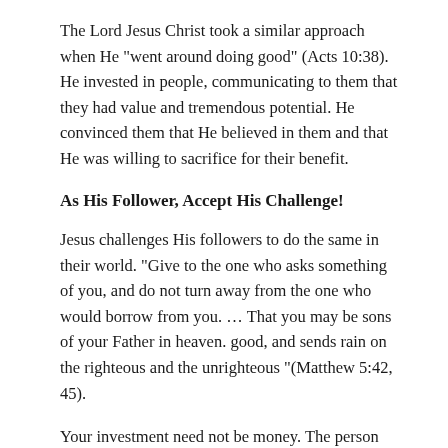The Lord Jesus Christ took a similar approach when He "went around doing good" (Acts 10:38). He invested in people, communicating to them that they had value and tremendous potential. He convinced them that He believed in them and that He was willing to sacrifice for their benefit.
As His Follower, Accept His Challenge!
Jesus challenges His followers to do the same in their world. "Give to the one who asks something of you, and do not turn away from the one who would borrow from you. … That you may be sons of your Father in heaven. good, and sends rain on the righteous and the unrighteous "(Matthew 5:42, 45).
Your investment need not be money. The person you meet may only need a moment's attention, eye contact,